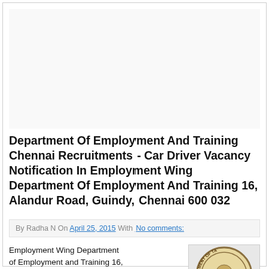[Figure (other): Advertisement/blank area placeholder at top of page]
Department Of Employment And Training Chennai Recruitments - Car Driver Vacancy Notification In Employment Wing Department Of Employment And Training 16, Alandur Road, Guindy, Chennai 600 032
By Radha N On April 25, 2015 With No comments:
Employment Wing Department of Employment and Training 16,
[Figure (logo): Seal/emblem of Tamil Nadu government, partially visible]